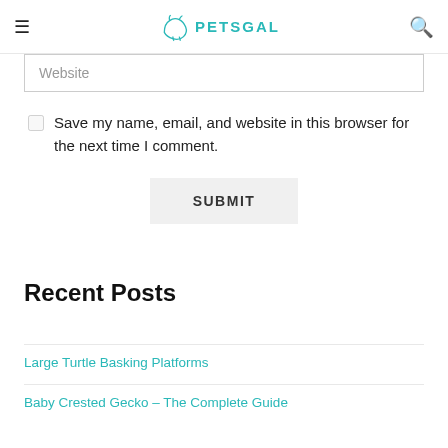PETSGAL
Website
Save my name, email, and website in this browser for the next time I comment.
SUBMIT
Recent Posts
Large Turtle Basking Platforms
Baby Crested Gecko – The Complete Guide